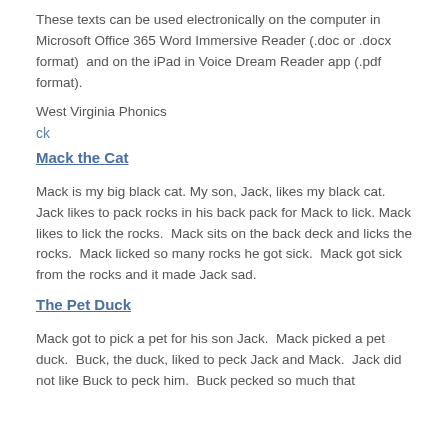These texts can be used electronically on the computer in Microsoft Office 365 Word Immersive Reader (.doc or .docx format)  and on the iPad in Voice Dream Reader app (.pdf format).
West Virginia Phonics
ck
Mack the Cat
Mack is my big black cat. My son, Jack, likes my black cat. Jack likes to pack rocks in his back pack for Mack to lick. Mack likes to lick the rocks.  Mack sits on the back deck and licks the rocks.  Mack licked so many rocks he got sick.  Mack got sick from the rocks and it made Jack sad.
The Pet Duck
Mack got to pick a pet for his son Jack.  Mack picked a pet duck.  Buck, the duck, liked to peck Jack and Mack.  Jack did not like Buck to peck him.  Buck pecked so much that